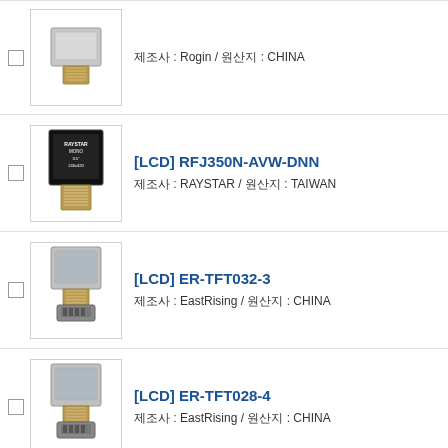제조사 : Rogin / 원산지 : CHINA
[LCD] RFJ350N-AVW-DNN
제조사 : RAYSTAR / 원산지 : TAIWAN
[LCD] ER-TFT032-3
제조사 : EastRising / 원산지 : CHINA
[LCD] ER-TFT028-4
제조사 : EastRising / 원산지 : CHINA